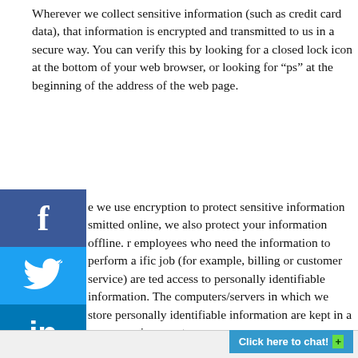Wherever we collect sensitive information (such as credit card data), that information is encrypted and transmitted to us in a secure way. You can verify this by looking for a closed lock icon at the bottom of your web browser, or looking for “ps” at the beginning of the address of the web page.
[Figure (illustration): Social media share buttons on the left side: Facebook (blue), Twitter (light blue), LinkedIn (blue), YouTube (red)]
e we use encryption to protect sensitive information smitted online, we also protect your information offline. r employees who need the information to perform a ific job (for example, billing or customer service) are ted access to personally identifiable information. The computers/servers in which we store personally identifiable information are kept in a secure environment.
[Figure (other): Click here to chat button at bottom right]